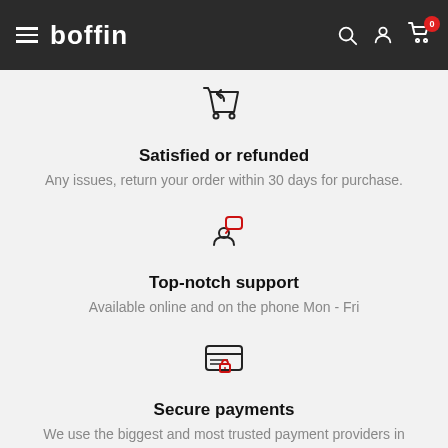boffin — navigation header with search, account, and cart icons
[Figure (illustration): Shopping cart with return arrow icon (line art)]
Satisfied or refunded
Any issues, return your order within 30 days for purchase.
[Figure (illustration): Person with speech bubble icon (line art, red bubble)]
Top-notch support
Available online and on the phone Mon - Fri
[Figure (illustration): Credit card with lock icon (line art, red lock)]
Secure payments
We use the biggest and most trusted payment providers in Australia